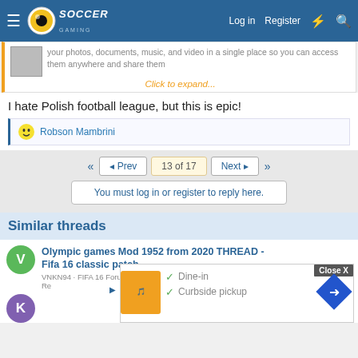Soccer Gaming - Log in | Register
your photos, documents, music, and video in a single place so you can access them anywhere and share them
Click to expand...
I hate Polish football league, but this is epic!
Robson Mambrini
13 of 17
You must log in or register to reply here.
Similar threads
Olympic games Mod 1952 from 2020 THREAD - Fifa 16 classic patch
VNKN94 · FIFA 16 Forum
Re
Close X
Dine-in
Curbside pickup